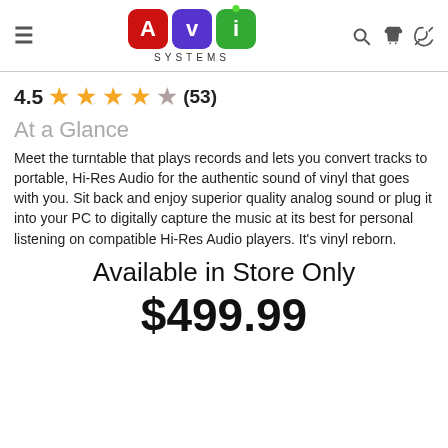[Figure (logo): AVI Systems logo with colored letter tiles (A=red, V=purple, I=green) and SYSTEMS text below]
4.5 ★★★★☆ (53)
At a Glance
Meet the turntable that plays records and lets you convert tracks to portable, Hi-Res Audio for the authentic sound of vinyl that goes with you. Sit back and enjoy superior quality analog sound or plug it into your PC to digitally capture the music at its best for personal listening on compatible Hi-Res Audio players. It's vinyl reborn.
Available in Store Only
$499.99